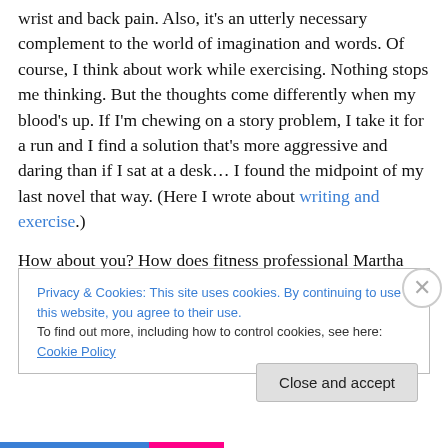wrist and back pain. Also, it's an utterly necessary complement to the world of imagination and words. Of course, I think about work while exercising. Nothing stops me thinking. But the thoughts come differently when my blood's up. If I'm chewing on a story problem, I take it for a run and I find a solution that's more aggressive and daring than if I sat at a desk… I found the midpoint of my last novel that way. (Here I wrote about writing and exercise.)
How about you? How does fitness professional Martha merge with writer-journalist-editor Martha and how are
Privacy & Cookies: This site uses cookies. By continuing to use this website, you agree to their use.
To find out more, including how to control cookies, see here: Cookie Policy